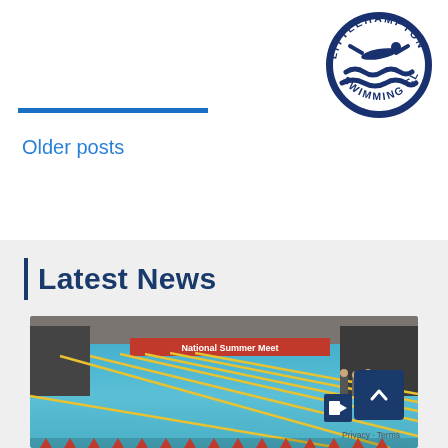[Figure (logo): Littlehampton Swimming Club circular logo with swimmer and waves, dark blue]
Older posts
Latest News
[Figure (photo): Indoor Olympic swimming pool with blue water and lane lines, banner reading National Summer Meet in background, spectators and officials visible]
Privacy · Terms